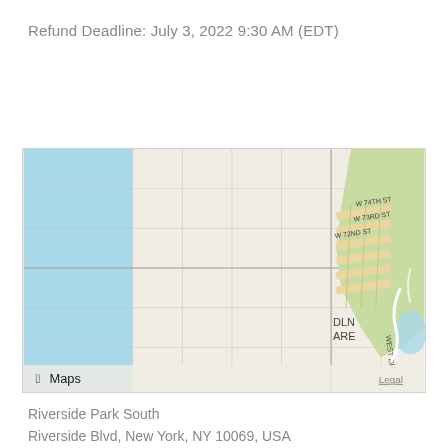Refund Deadline: July 3, 2022 9:30 AM (EDT)
[Figure (map): Apple Maps screenshot showing Riverside Park South area in New York, NY. Map shows a grid street layout with W 74th St, W 73rd St, W 72nd St labeled, Hudson River (blue) on the left, Central Park (green) on the upper right. 'DLN ARE' partial text and 'WEST DR' road visible. Apple Maps logo and Legal link shown at bottom left and right.]
Riverside Park South
Riverside Blvd, New York, NY 10069, USA